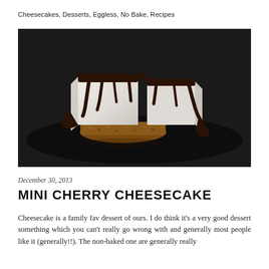Cheesecakes, Desserts, Eggless, No Bake, Recipes
[Figure (photo): A close-up photo of a mini cheesecake with a graham cracker crust, white creamy filling, and dark chocolate ganache dripping down the sides, on a dark background.]
December 30, 2013
MINI CHERRY CHEESECAKE
Cheesecake is a family fav dessert of ours. I do think it's a very good dessert something which you can't really go wrong with and generally most people like it (generally!!). The non-baked one are generally really